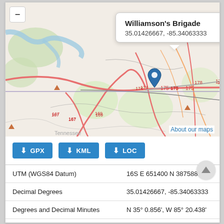[Figure (map): OpenStreetMap showing Williamson's Brigade location near Chattanooga, TN area with East Ridge and Fort Oglethorpe visible. Blue map pin dropped at coordinates 35.01426667, -85.34063333. Popup tooltip shows location name and coordinates. Highway labels 174, 175, 178, 180A, 181, 184, 185A, 167, 169 visible.]
GPX  KML  LOC (download buttons)
| UTM (WGS84 Datum) | 16S E 651400 N 3875883 |
| Decimal Degrees | 35.01426667, -85.34063333 |
| Degrees and Decimal Minutes | N 35° 0.856', W 85° 20.438' |
| Degrees, Minutes and Seconds | 35° 0' 51.36" N, 85° 20' 26.28" W |
| Driving Directions | Google Maps |